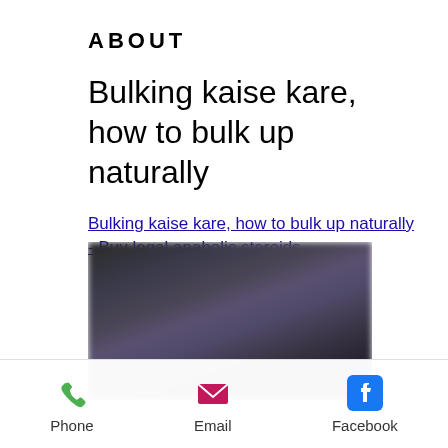ABOUT
Bulking kaise kare, how to bulk up naturally
Bulking kaise kare, how to bulk up naturally - Buy legal anabolic steroids
[Figure (photo): Blurred/redacted dark image of people, likely a gym or fitness scene]
Phone  Email  Facebook